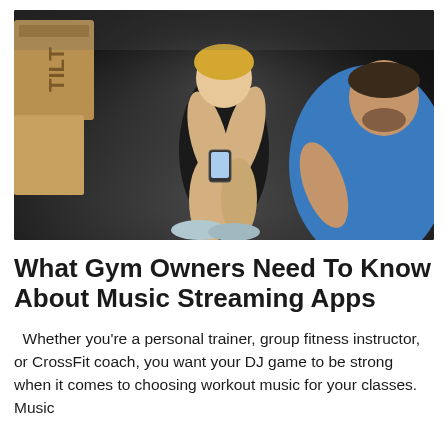[Figure (photo): A muscular blonde woman in a black athletic outfit sits on a gym floor looking at her phone, while a man in a blue shirt sits nearby in a CrossFit gym with wooden boxes visible in the background.]
What Gym Owners Need To Know About Music Streaming Apps
Whether you're a personal trainer, group fitness instructor, or CrossFit coach, you want your DJ game to be strong when it comes to choosing workout music for your classes. Music